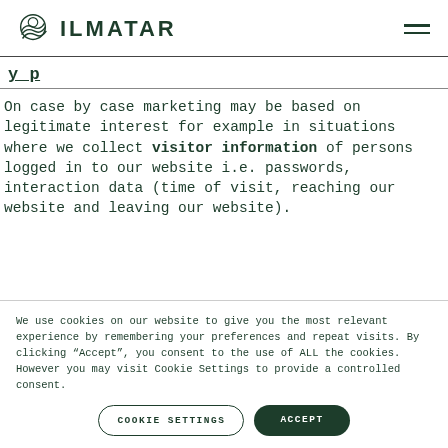ILMATAR
On case by case marketing may be based on legitimate interest for example in situations where we collect visitor information of persons logged in to our website i.e. passwords, interaction data (time of visit, reaching our website and leaving our website).
We use cookies on our website to give you the most relevant experience by remembering your preferences and repeat visits. By clicking “Accept”, you consent to the use of ALL the cookies. However you may visit Cookie Settings to provide a controlled consent.